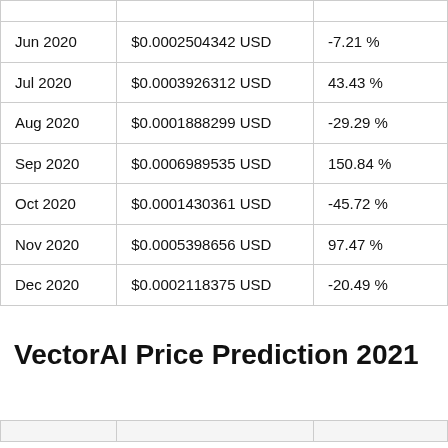| Month | Price | Change |
| --- | --- | --- |
| Jun 2020 | $0.0002504342 USD | -7.21 % |
| Jul 2020 | $0.0003926312 USD | 43.43 % |
| Aug 2020 | $0.0001888299 USD | -29.29 % |
| Sep 2020 | $0.0006989535 USD | 150.84 % |
| Oct 2020 | $0.0001430361 USD | -45.72 % |
| Nov 2020 | $0.0005398656 USD | 97.47 % |
| Dec 2020 | $0.0002118375 USD | -20.49 % |
VectorAI Price Prediction 2021